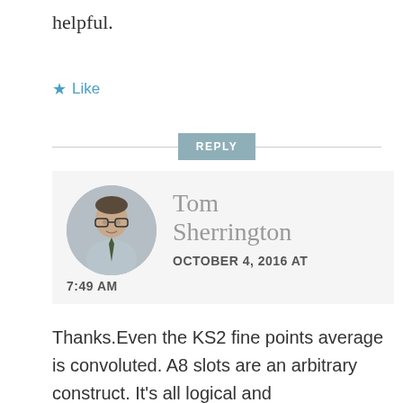helpful.
Like
REPLY
[Figure (photo): Circular avatar photo of Tom Sherrington, a man wearing glasses and a tie]
Tom Sherrington
OCTOBER 4, 2016 AT 7:49 AM
Thanks.Even the KS2 fine points average is convoluted. A8 slots are an arbitrary construct. It's all logical and mathematically sound but it is